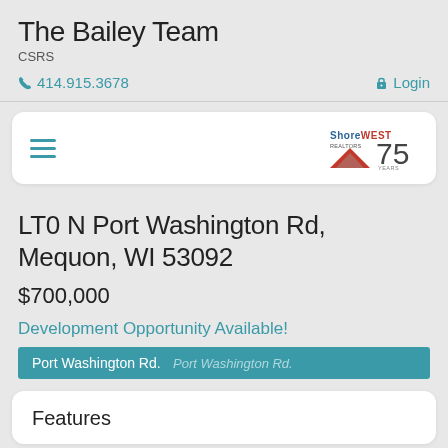The Bailey Team
CSRS
414.915.3678
Login
[Figure (logo): Shorewest Realtors 75 Years logo with red triangle/house icon]
LT0 N Port Washington Rd, Mequon, WI 53092
$700,000
Development Opportunity Available!
Port Washington Rd.
Features